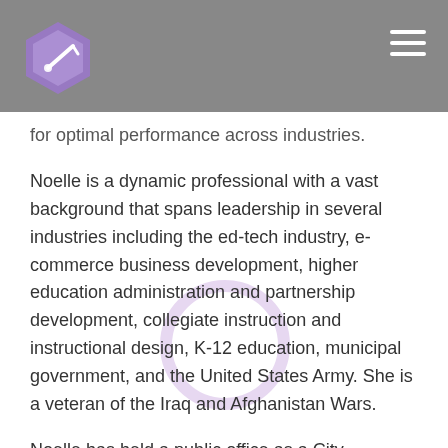for optimal performance across industries.
Noelle is a dynamic professional with a vast background that spans leadership in several industries including the ed-tech industry, e-commerce business development, higher education administration and partnership development, collegiate instruction and instructional design, K-12 education, municipal government, and the United States Army. She is a veteran of the Iraq and Afghanistan Wars.
Noelle has held a public office as a City Commissioner in North Carolina and serves on a variety of public, private, and institutional boards. She has also been an award-winning college professor that has taught at four